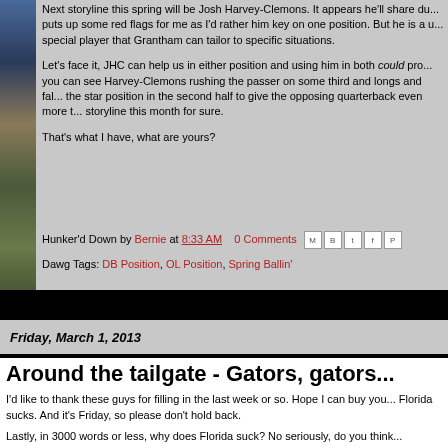Next storyline this spring will be Josh Harvey-Clemons. It appears he'll share du... puts up some red flags for me as I'd rather him key on one position. But he is a u... special player that Grantham can tailor to specific situations.
Let's face it, JHC can help us in either position and using him in both could pro... you can see Harvey-Clemons rushing the passer on some third and longs and fal... the star position in the second half to give the opposing quarterback even more t... storyline this month for sure.
That's what I have, what are yours?
Hunker'd Down by Bernie at 8:33 AM   0 Comments
Dawg Tags: DB Position, OL Position, Spring Ballin'
Friday, March 1, 2013
Around the tailgate - Gators, gators...
I'd like to thank these guys for filling in the last week or so. Hope I can buy you... Florida sucks. And it's Friday, so please don't hold back.
Lastly, in 3000 words or less, why does Florida suck? No seriously, do you think...